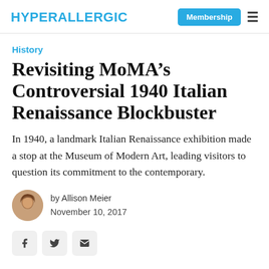HYPERALLERGIC | Membership
History
Revisiting MoMA’s Controversial 1940 Italian Renaissance Blockbuster
In 1940, a landmark Italian Renaissance exhibition made a stop at the Museum of Modern Art, leading visitors to question its commitment to the contemporary.
by Allison Meier
November 10, 2017